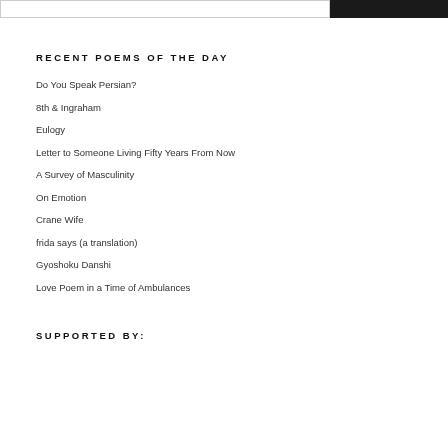RECENT POEMS OF THE DAY
Do You Speak Persian?
8th & Ingraham
Eulogy
Letter to Someone Living Fifty Years From Now
A Survey of Masculinity
On Emotion
Crane Wife
frida says (a translation)
Gyoshoku Danshi
Love Poem in a Time of Ambulances
SUPPORTED BY:
[Figure (logo): CD?L Center for Digital Inquiry and Learning logo on grey background]